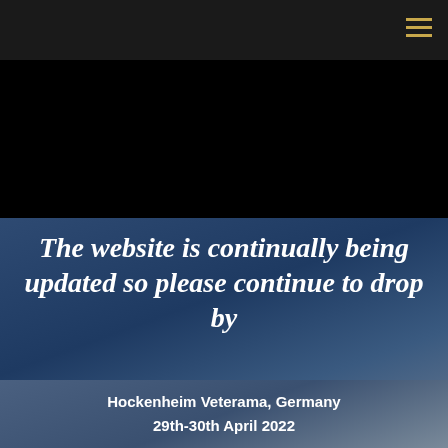[Figure (screenshot): Dark black header bar with yellow/gold hamburger menu icon in top-right corner, above a predominantly black image area representing a website screenshot]
The website is continually being updated so please continue to drop by
Hockenheim Veterama, Germany
29th-30th April 2022